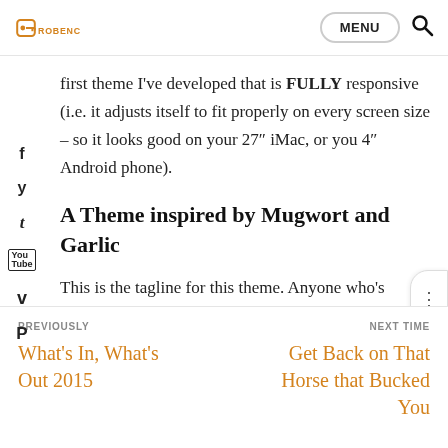ROBENC | MENU
first theme I've developed that is FULLY responsive (i.e. it adjusts itself to fit properly on every screen size – so it looks good on your 27″ iMac, or you 4″ Android phone).
A Theme inspired by Mugwort and Garlic
This is the tagline for this theme. Anyone who's studied a bit about Korean history can probably
PREVIOUSLY
What's In, What's Out 2015

NEXT TIME
Get Back on That Horse that Bucked You